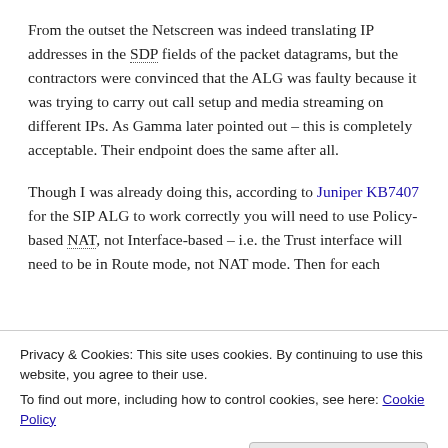From the outset the Netscreen was indeed translating IP addresses in the SDP fields of the packet datagrams, but the contractors were convinced that the ALG was faulty because it was trying to carry out call setup and media streaming on different IPs. As Gamma later pointed out – this is completely acceptable. Their endpoint does the same after all.
Though I was already doing this, according to Juniper KB7407 for the SIP ALG to work correctly you will need to use Policy-based NAT, not Interface-based – i.e. the Trust interface will need to be in Route mode, not NAT mode. Then for each
Privacy & Cookies: This site uses cookies. By continuing to use this website, you agree to their use.
To find out more, including how to control cookies, see here: Cookie Policy
[Figure (screenshot): Bottom strip of a UI screenshot showing Destination Translation checkbox, Translate to IP radio option, and 0.0.0.0 text field]